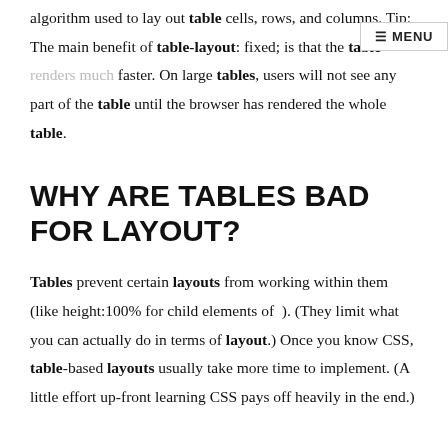algorithm used to lay out table cells, rows, and columns. Tip: The main benefit of table-layout: fixed; is that the table renders much faster. On large tables, users will not see any part of the table until the browser has rendered the whole table.
WHY ARE TABLES BAD FOR LAYOUT?
Tables prevent certain layouts from working within them (like height:100% for child elements of ). (They limit what you can actually do in terms of layout.) Once you know CSS, table-based layouts usually take more time to implement. (A little effort up-front learning CSS pays off heavily in the end.)